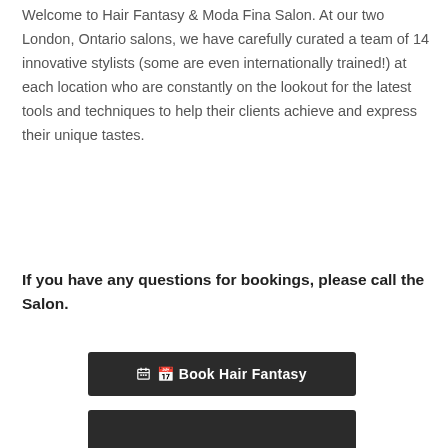Welcome to Hair Fantasy & Moda Fina Salon. At our two London, Ontario salons, we have carefully curated a team of 14 innovative stylists (some are even internationally trained!) at each location who are constantly on the lookout for the latest tools and techniques to help their clients achieve and express their unique tastes.
If you have any questions for bookings, please call the Salon.
[Figure (other): Dark rectangular button labeled 'Book Hair Fantasy' with a calendar icon]
[Figure (other): Dark rectangular button (partially visible at bottom of page)]